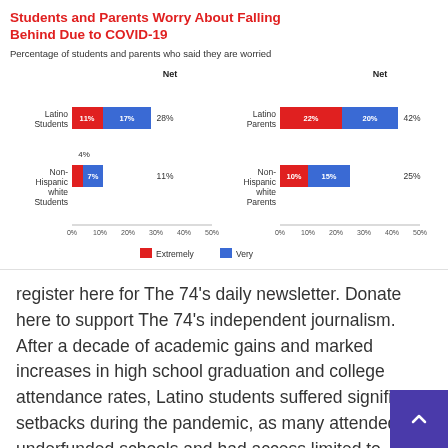[Figure (grouped-bar-chart): Students and Parents Worry About Falling Behind Due to COVID-19]
register here for The 74's daily newsletter. Donate here to support The 74's independent journalism. After a decade of academic gains and marked increases in high school graduation and college attendance rates, Latino students suffered significant setbacks during the pandemic, as many attended underfunded schools and had access limited to internet at home, a ne